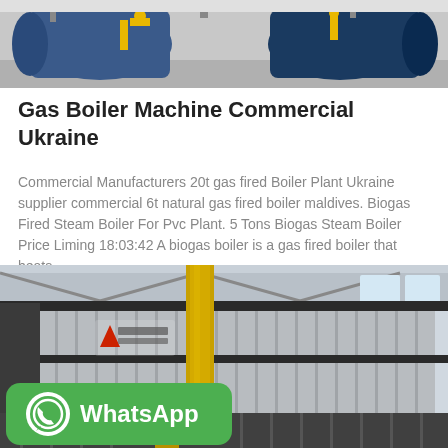[Figure (photo): Industrial gas boilers in a factory setting, showing cylindrical blue boilers with yellow gas fittings and piping]
Gas Boiler Machine Commercial Ukraine
Commercial Manufacturers 20t gas fired Boiler Plant Ukraine supplier commercial 6t natural gas fired boiler maldives. Biogas Fired Steam Boiler For Pvc Plant. 5 Tons Biogas Steam Boiler Price Liming 18:03:42 A biogas boiler is a gas fired boiler that heats…
[Figure (photo): Large industrial boiler installation inside a factory building with corrugated metal cladding and Chinese manufacturer branding, yellow gas pipes visible in foreground, with WhatsApp contact button overlay]